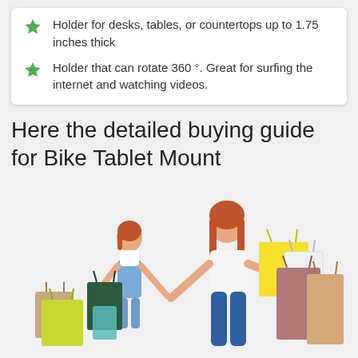Holder for desks, tables, or countertops up to 1.75 inches thick
Holder that can rotate 360 °. Great for surfing the internet and watching videos.
Here the detailed buying guide for Bike Tablet Mount
[Figure (photo): A woman with long red hair wearing a white top and jeans, carrying shopping bags, walking hand-in-hand with a young red-haired girl in overalls. Both carry multiple colorful shopping bags. White background.]